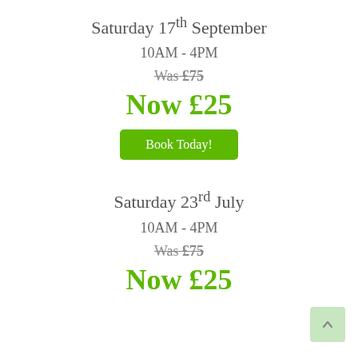Saturday 17th September
10AM - 4PM
Was £75
Now £25
Book Today!
Saturday 23rd July
10AM - 4PM
Was £75
Now £25